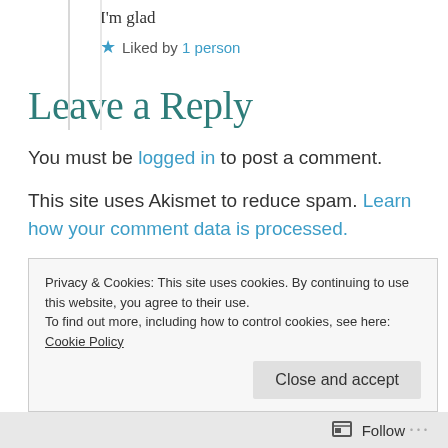I'm glad
Liked by 1 person
Leave a Reply
You must be logged in to post a comment.
This site uses Akismet to reduce spam. Learn how your comment data is processed.
Privacy & Cookies: This site uses cookies. By continuing to use this website, you agree to their use. To find out more, including how to control cookies, see here: Cookie Policy
Close and accept
Follow ...